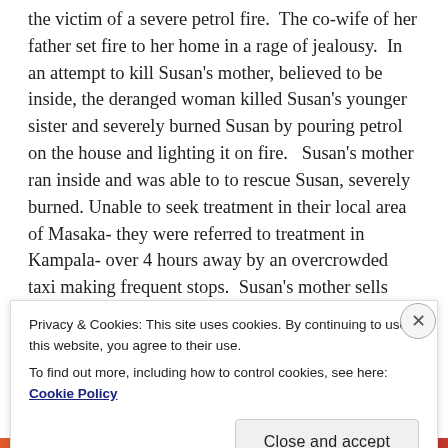the victim of a severe petrol fire. The co-wife of her father set fire to her home in a rage of jealousy. In an attempt to kill Susan's mother, believed to be inside, the deranged woman killed Susan's younger sister and severely burned Susan by pouring petrol on the house and lighting it on fire. Susan's mother ran inside and was able to to rescue Susan, severely burned. Unable to seek treatment in their local area of Masaka- they were referred to treatment in Kampala- over 4 hours away by an overcrowded taxi making frequent stops. Susan's mother sells
Privacy & Cookies: This site uses cookies. By continuing to use this website, you agree to their use.
To find out more, including how to control cookies, see here: Cookie Policy